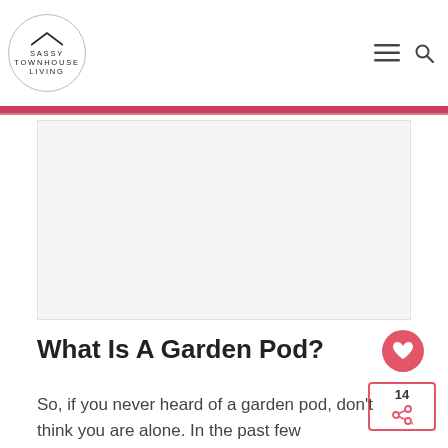SASSY TOWNHOUSE LIVING
[Figure (photo): Large rectangular image placeholder area (white/light gray), representing a blog post hero image for an article about garden pods.]
What Is A Garden Pod?
So, if you never heard of a garden pod, don't think you are alone. In the past few